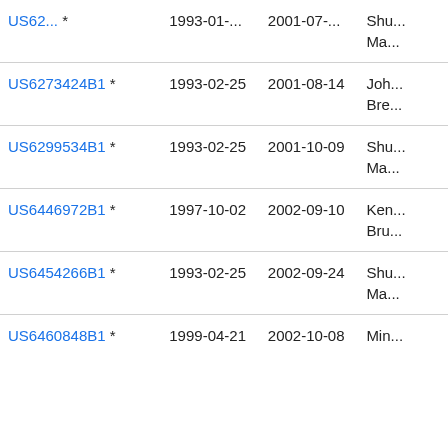| Patent Number | Filing Date | Publication Date | Inventor |
| --- | --- | --- | --- |
| US62...(truncated) * | 1993-01-...(truncated) | 2001-07-...(truncated) | Shu... Ma... |
| US6273424B1 * | 1993-02-25 | 2001-08-14 | Joh... Bre... |
| US6299534B1 * | 1993-02-25 | 2001-10-09 | Shu... Ma... |
| US6446972B1 * | 1997-10-02 | 2002-09-10 | Ken... Bru... |
| US6454266B1 * | 1993-02-25 | 2002-09-24 | Shu... Ma... |
| US6460848B1 * | 1999-04-21 | 2002-10-08 | Min... |